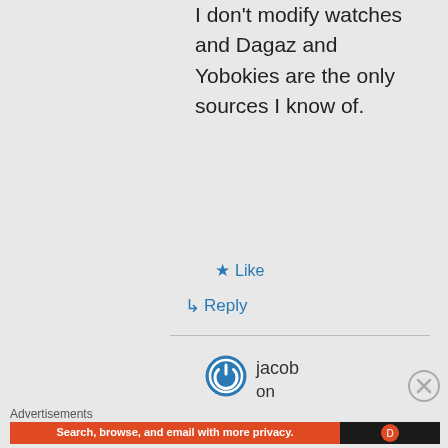I don't modify watches and Dagaz and Yobokies are the only sources I know of.
★ Like
↳ Reply
jacob
on
Advertisements
[Figure (screenshot): DuckDuckGo advertisement banner: orange background with text 'Search, browse, and email with more privacy. All in One Free App' and DuckDuckGo logo on dark background on the right.]